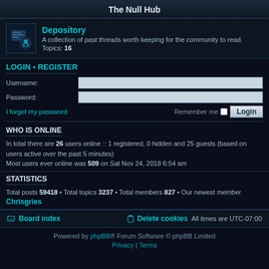The Null Hub
Depository
A collection of past threads worth keeping for the community to read. Topics: 16
LOGIN • REGISTER
Username:
Password:
I forgot my password
Remember me  Login
WHO IS ONLINE
In total there are 26 users online :: 1 registered, 0 hidden and 25 guests (based on users active over the past 5 minutes)
Most users ever online was 509 on Sat Nov 24, 2018 6:54 am
STATISTICS
Total posts 59418 • Total topics 3237 • Total members 827 • Our newest member Chrisgries
Board index  Delete cookies  All times are UTC-07:00
Powered by phpBB® Forum Software © phpBB Limited  Privacy | Terms